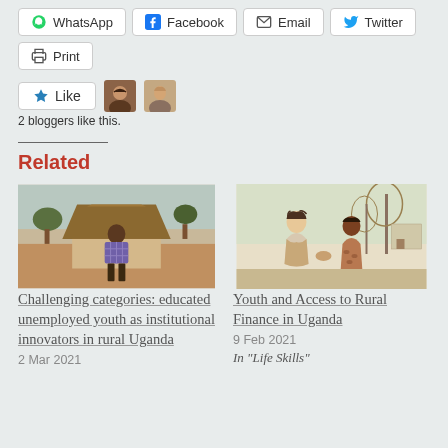WhatsApp
Facebook
Email
Twitter
Print
2 bloggers like this.
Related
[Figure (photo): A young man standing in front of a thatched-roof hut in a rural African setting.]
Challenging categories: educated unemployed youth as institutional innovators in rural Uganda
2 Mar 2021
[Figure (illustration): A pencil illustration of two women sitting together outdoors, appearing to exchange something, with trees and a building in the background.]
Youth and Access to Rural Finance in Uganda
9 Feb 2021
In "Life Skills"